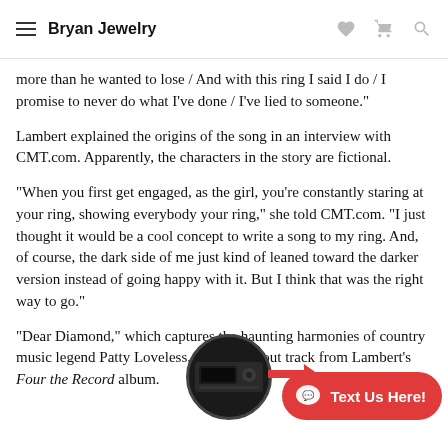Bryan Jewelry
more than he wanted to lose / And with this ring I said I do / I promise to never do what I've done / I've lied to someone."
Lambert explained the origins of the song in an interview with CMT.com. Apparently, the characters in the story are fictional.
"When you first get engaged, as the girl, you're constantly staring at your ring, showing everybody your ring," she told CMT.com. "I just thought it would be a cool concept to write a song to my ring. And, of course, the dark side of me just kind of leaned toward the darker version instead of going happy with it. But I think that was the right way to go."
"Dear Diamond," which captures the haunting harmonies of country music legend Patty Loveless, is the standout track from Lambert's Four the Record album.